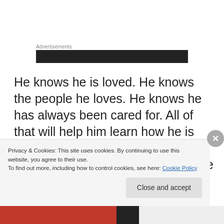Advertisements
[Figure (other): Dark advertisement banner block]
He knows he is loved. He knows the people he loves. He knows he has always been cared for. All of that will help him learn how he is beloved by God, no matter where he goes or what he does. I hope the memory of that
Privacy & Cookies: This site uses cookies. By continuing to use this website, you agree to their use.
To find out more, including how to control cookies, see here: Cookie Policy
Close and accept